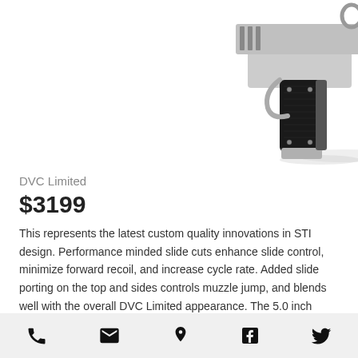[Figure (photo): Partial view of a pistol (DVC Limited) showing the grip, frame, and lower portion of the slide against a white background]
DVC Limited
$3199
This represents the latest custom quality innovations in STI design. Performance minded slide cuts enhance slide control, minimize forward recoil, and increase cycle rate. Added slide porting on the top and sides controls muzzle jump, and blends well with the overall DVC Limited appearance. The 5.0 inch Island Barrel is finished with Titanium Nitride for wear
Phone | Email | Location | Facebook | Twitter